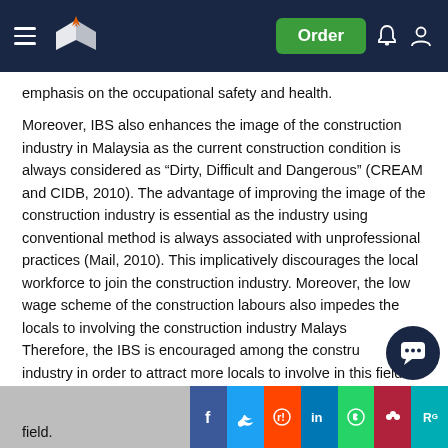Navigation bar with logo, Order button, notification and user icons
emphasis on the occupational safety and health.
Moreover, IBS also enhances the image of the construction industry in Malaysia as the current construction condition is always considered as “Dirty, Difficult and Dangerous” (CREAM and CIDB, 2010). The advantage of improving the image of the construction industry is essential as the industry using conventional method is always associated with unprofessional practices (Mail, 2010). This implicatively discourages the local workforce to join the construction industry. Moreover, the low wage scheme of the construction labours also impedes the locals to involving the construction industry Malaysia. Therefore, the IBS is encouraged among the construction industry in order to attract more locals to involve in this field.
Social share bar: Facebook, Twitter, Reddit, LinkedIn, WhatsApp, Mendeley, ResearchGate